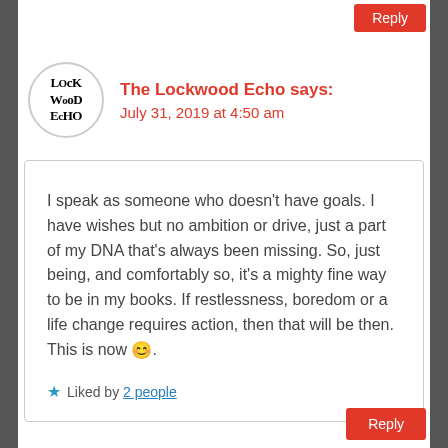Reply
[Figure (logo): The Lockwood Echo circular logo with stylized text]
The Lockwood Echo says:
July 31, 2019 at 4:50 am
I speak as someone who doesn’t have goals. I have wishes but no ambition or drive, just a part of my DNA that’s always been missing. So, just being, and comfortably so, it’s a mighty fine way to be in my books. If restlessness, boredom or a life change requires action, then that will be then. This is now 😊.
★ Liked by 2 people
Reply